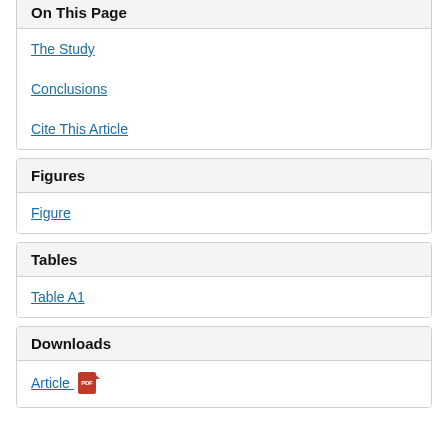On This Page
The Study
Conclusions
Cite This Article
Figures
Figure
Tables
Table A1
Downloads
Article